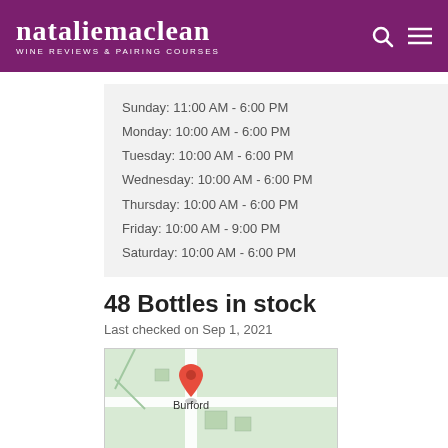nataliemaclean WINE REVIEWS & PAIRING COURSES
Sunday: 11:00 AM - 6:00 PM
Monday: 10:00 AM - 6:00 PM
Tuesday: 10:00 AM - 6:00 PM
Wednesday: 10:00 AM - 6:00 PM
Thursday: 10:00 AM - 6:00 PM
Friday: 10:00 AM - 9:00 PM
Saturday: 10:00 AM - 6:00 PM
48 Bottles in stock
Last checked on Sep 1, 2021
[Figure (map): Map showing location pin over Burford]